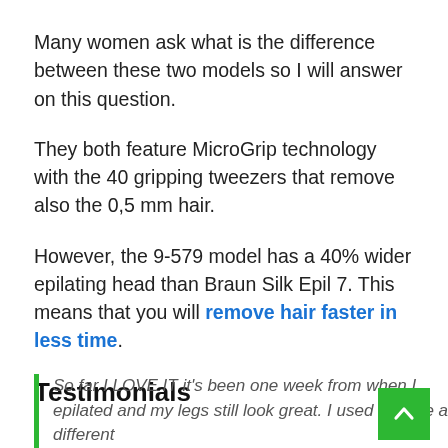Many women ask what is the difference between these two models so I will answer on this question.
They both feature MicroGrip technology with the 40 gripping tweezers that remove also the 0,5 mm hair.
However, the 9-579 model has a 40% wider epilating head than Braun Silk Epil 7. This means that you will remove hair faster in less time.
Testimonials
So far I LOVE IT it's been one week from when I epilated and my legs still look great. I used to have a different